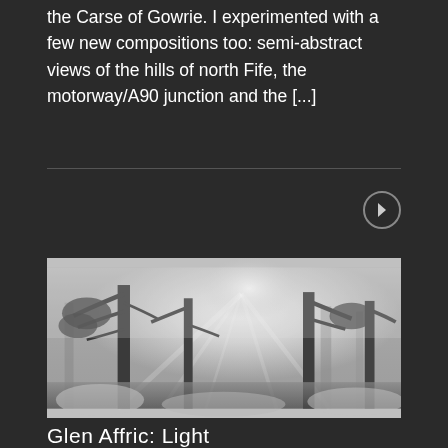the Carse of Gowrie. I experimented with a few new compositions too: semi-abstract views of the hills of north Fife, the motorway/A90 junction and the [...]
[Figure (other): Navigation arrow button (right arrow) in a circular border on dark background]
[Figure (photo): Black and white photograph of misty forest with tall pine trees and dramatic light rays filtering through fog]
Glen Affric: Light